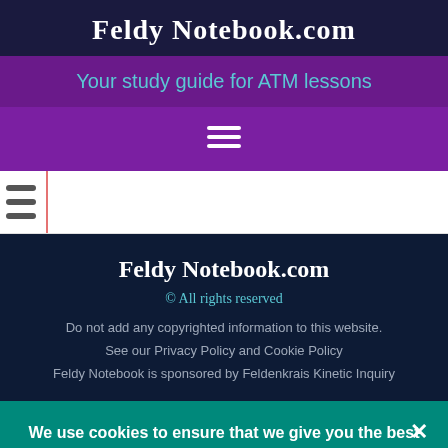Feldy Notebook.com
Your study guide for ATM lessons
[Figure (other): Hamburger menu icon (three horizontal white lines)]
[Figure (other): Notebook spiral binding strip with pink vertical line]
Feldy Notebook.com
© All rights reserved
Do not add any copyrighted information to this website.
See our Privacy Policy and Cookie Policy
Feldy Notebook is sponsored by Feldenkrais Kinetic Inquiry
We use cookies to ensure that we give you the best experience on our website. If you continue to use this site we will assume that you are happy with it.
Ok   Read more...